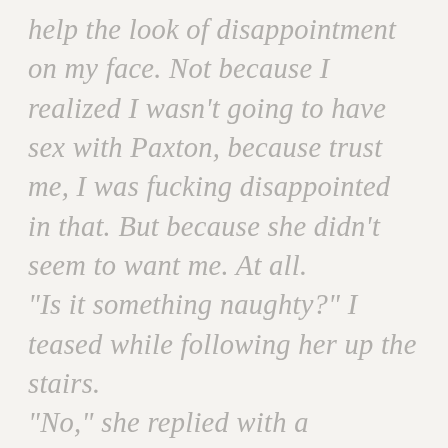help the look of disappointment on my face. Not because I realized I wasn't going to have sex with Paxton, because trust me, I was fucking disappointed in that. But because she didn't seem to want me. At all. "Is it something naughty?" I teased while following her up the stairs. "No," she replied with a lighthearted laugh. I could tell she was a little tipsy with the way she was walking. I had to admit it was nice to have a bit of lighter banter between us.